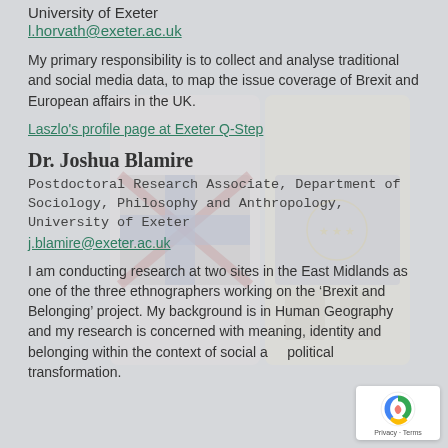University of Exeter
l.horvath@exeter.ac.uk
My primary responsibility is to collect and analyse traditional and social media data, to map the issue coverage of Brexit and European affairs in the UK.
Laszlo's profile page at Exeter Q-Step
Dr. Joshua Blamire
Postdoctoral Research Associate, Department of Sociology, Philosophy and Anthropology, University of Exeter
j.blamire@exeter.ac.uk
I am conducting research at two sites in the East Midlands as one of the three ethnographers working on the ‘Brexit and Belonging’ project. My background is in Human Geography and my research is concerned with meaning, identity and belonging within the context of social and political transformation.
[Figure (illustration): Background illustration showing Union Jack and EU flag motifs, faded/watermarked behind the content]